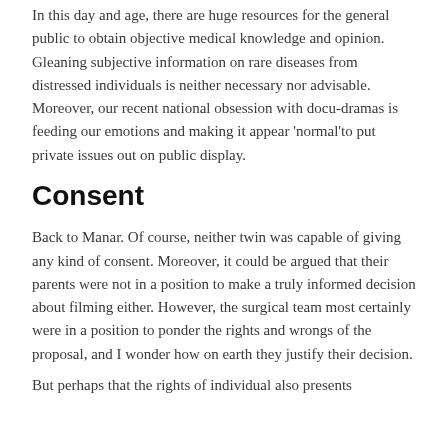In this day and age, there are huge resources for the general public to obtain objective medical knowledge and opinion. Gleaning subjective information on rare diseases from distressed individuals is neither necessary nor advisable. Moreover, our recent national obsession with docu-dramas is feeding our emotions and making it appear 'normal'to put private issues out on public display.
Consent
Back to Manar. Of course, neither twin was capable of giving any kind of consent. Moreover, it could be argued that their parents were not in a position to make a truly informed decision about filming either. However, the surgical team most certainly were in a position to ponder the rights and wrongs of the proposal, and I wonder how on earth they justify their decision.
But perhaps that the rights of individual also presents...